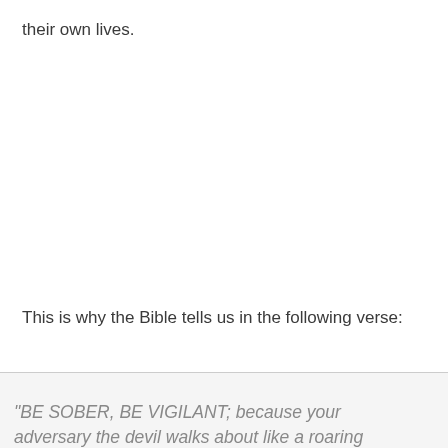their own lives.
This is why the Bible tells us in the following verse:
“BE SOBER, BE VIGILANT; because your adversary the devil walks about like a roaring